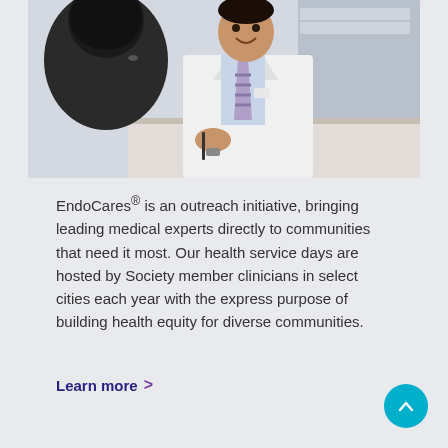[Figure (photo): A doctor in a white coat and striped tie smiling and holding a pen, consulting with a patient whose back is to the camera, in a medical office setting.]
EndoCares® is an outreach initiative, bringing leading medical experts directly to communities that need it most. Our health service days are hosted by Society member clinicians in select cities each year with the express purpose of building health equity for diverse communities.
Learn more >